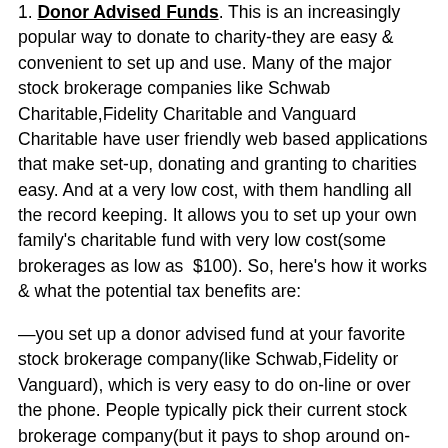1. Donor Advised Funds. This is an increasingly popular way to donate to charity-they are easy & convenient to set up and use. Many of the major stock brokerage companies like Schwab Charitable,Fidelity Charitable and Vanguard Charitable have user friendly web based applications that make set-up, donating and granting to charities easy. And at a very low cost, with them handling all the record keeping. It allows you to set up your own family's charitable fund with very low cost(some brokerages as low as $100). So, here's how it works & what the potential tax benefits are:
—you set up a donor advised fund at your favorite stock brokerage company(like Schwab,Fidelity or Vanguard), which is very easy to do on-line or over the phone. People typically pick their current stock brokerage company(but it pays to shop around on-line for fees , etc)
—You contribute either cash or assets like stock, you own